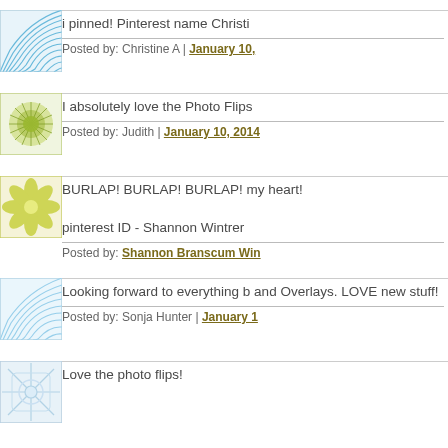[Figure (illustration): Blue fan/wave pattern avatar icon]
i pinned! Pinterest name Christi
Posted by: Christine A | January 10,
[Figure (illustration): Green sunflower/circular pattern avatar icon]
I absolutely love the Photo Flips
Posted by: Judith | January 10, 2014
[Figure (illustration): Yellow-green flower petal pattern avatar icon]
BURLAP! BURLAP! BURLAP! my heart!

pinterest ID - Shannon Wintrer
Posted by: Shannon Branscum Win
[Figure (illustration): Blue fan/wave pattern avatar icon (light)]
Looking forward to everything b and Overlays. LOVE new stuff!
Posted by: Sonja Hunter | January 1
[Figure (illustration): Blue/white snowflake pattern avatar icon (partial)]
Love the photo flips!